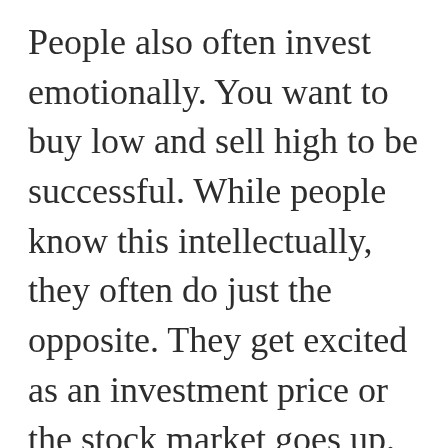People also often invest emotionally. You want to buy low and sell high to be successful. While people know this intellectually, they often do just the opposite. They get excited as an investment price or the stock market goes up. As the prices go down people get scared and want to get out of the scary situation. Before you consider making a change to your investments first stop and think through whether